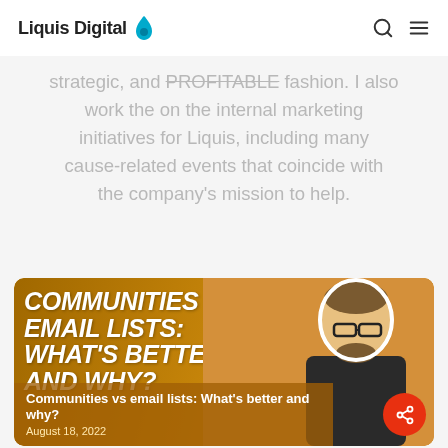Liquis Digital
strategic, and PROFITABLE fashion. I also work the on the internal marketing initiatives for Liquis, including many cause-related events that coincide with the company's mission to help.
[Figure (photo): Promotional card with golden/amber background showing text 'COMMUNITIES VS EMAIL LISTS: WHAT'S BETTER AND WHY?' with a man wearing glasses on the right side. Overlay text reads 'Communities vs email lists: What's better and why?' dated August 18, 2022. Orange share button in bottom right.]